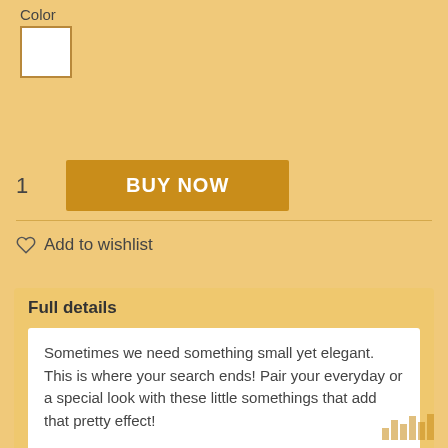Color
[Figure (other): White color swatch with gold/brown border indicating selected color option]
1
BUY NOW
♡ Add to wishlist
Full details
Sometimes we need something small yet elegant. This is where your search ends! Pair your everyday or a special look with these little somethings that add that pretty effect!
Product Characteristics :
Available as a pair
Length x Width: 50mm x 10mm
Care Instruction: Keep away from Chemicals